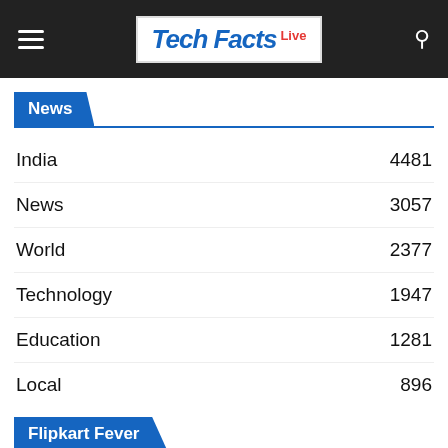Tech Facts Live
News
India  4481
News  3057
World  2377
Technology  1947
Education  1281
Local  896
Flipkart Fever
[Figure (photo): Flipkart New Pinch Days sale banner showing 15th-17th December dates with Flipkart branding]